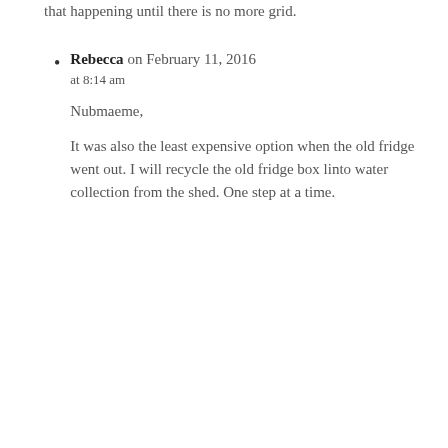that happening until there is no more grid.
Rebecca on February 11, 2016 at 8:14 am

Nubmaeme,

It was also the least expensive option when the old fridge went out. I will recycle the old fridge box linto water collection from the shed. One step at a time.